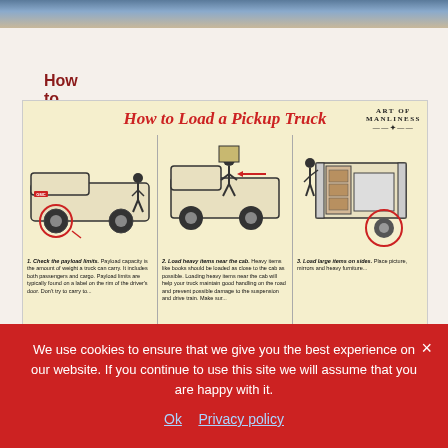[Figure (photo): Partial top image strip showing a scene, likely related to the article above]
How to Pick a Lock With a Paper Clip
[Figure (infographic): How to Load a Pickup Truck infographic from Art of Manliness, showing three illustrated panels: 1. Check the payload limits, 2. Load heavy items near the cab, 3. Load large items on sides.]
We use cookies to ensure that we give you the best experience on our website. If you continue to use this site we will assume that you are happy with it.
Ok   Privacy policy